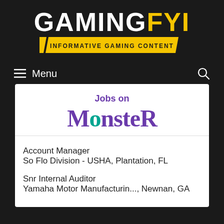[Figure (logo): GamingFYI logo with white GAMING text and yellow FYI text, with yellow banner tagline 'INFORMATIVE GAMING CONTENT' below with slashes]
≡ Menu
Jobs on MONSTER
Account Manager
So Flo Division - USHA, Plantation, FL
Snr Internal Auditor
Yamaha Motor Manufacturin..., Newnan, GA